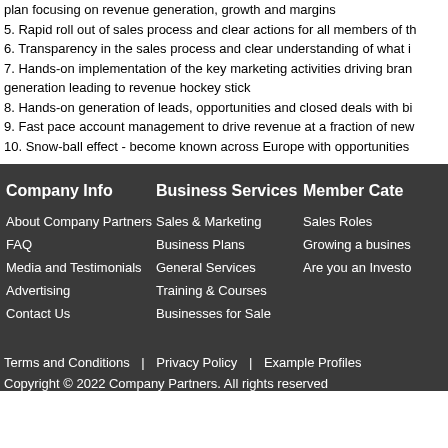plan focusing on revenue generation, growth and margins
5. Rapid roll out of sales process and clear actions for all members of th
6. Transparency in the sales process and clear understanding of what i
7. Hands-on implementation of the key marketing activities driving bran generation leading to revenue hockey stick
8. Hands-on generation of leads, opportunities and closed deals with bi
9. Fast pace account management to drive revenue at a fraction of new
10. Snow-ball effect - become known across Europe with opportunities
Company Info
Business Services
Member Cate
About Company Partners
FAQ
Media and Testimonials
Advertising
Contact Us
Sales & Marketing
Business Plans
General Services
Training & Courses
Businesses for Sale
Sales Roles
Growing a busines
Are you an Investo
Terms and Conditions | Privacy Policy | Example Profiles
Copyright © 2022 Company Partners. All rights reserved